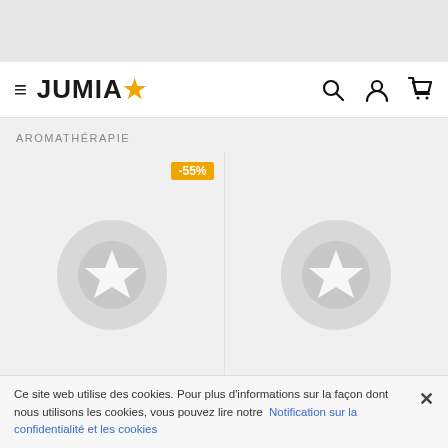[Figure (screenshot): Jumia e-commerce website header with hamburger menu, Jumia logo with orange star, search icon, user icon, and cart icon]
AROMATHÉRAPIE
[Figure (other): Product card with -55% discount badge and Jumia placeholder star logo image]
[Figure (other): Product card with Jumia placeholder star logo image]
LES PLUS DEMANDÉS
FILTRER
Ce site web utilise des cookies. Pour plus d'informations sur la façon dont nous utilisons les cookies, vous pouvez lire notre Notification sur la confidentialité et les cookies